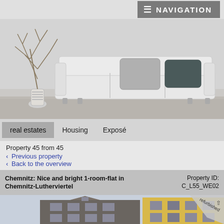NAVIGATION
[Figure (photo): Interior photo of a modern white sofa with light grey and dark grey cushions, and a decorative branch arrangement in a white vase on the left, against a grey/white wall.]
real estates   Housing   Exposé
Property 45 from 45
Previous property
Back to the overview
Chemnitz: Nice and bright 1-room-flat in Chemnitz-Lutherviertel
Property ID: C_L55_WE02
[Figure (photo): Exterior photo of a multi-storey building in Chemnitz, with a yellow building visible on the right. A 'refurbished' badge/ribbon is shown in the upper right corner.]